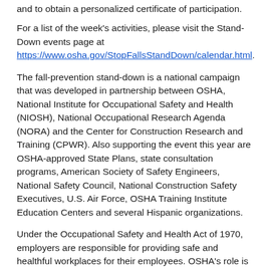and to obtain a personalized certificate of participation.
For a list of the week's activities, please visit the Stand-Down events page at https://www.osha.gov/StopFallsStandDown/calendar.html.
The fall-prevention stand-down is a national campaign that was developed in partnership between OSHA, National Institute for Occupational Safety and Health (NIOSH), National Occupational Research Agenda (NORA) and the Center for Construction Research and Training (CPWR). Also supporting the event this year are OSHA-approved State Plans, state consultation programs, American Society of Safety Engineers, National Safety Council, National Construction Safety Executives, U.S. Air Force, OSHA Training Institute Education Centers and several Hispanic organizations.
Under the Occupational Safety and Health Act of 1970, employers are responsible for providing safe and healthful workplaces for their employees. OSHA's role is to help ensure these conditions for America's working men and women by setting and enforcing standards, and providing training, education and assistance. For more information, visit www.osha.gov.
The mission of the Department of Labor is to foster, promote, and